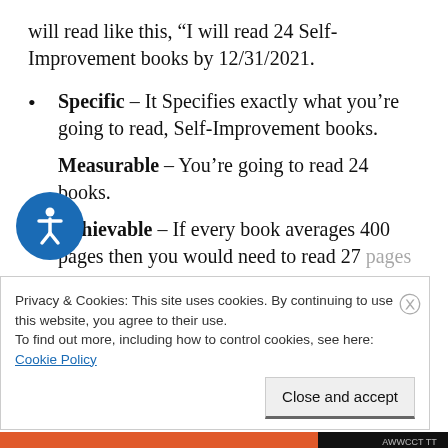will read like this, “I will read 24 Self-Improvement books by 12/31/2021.
Specific – It Specifies exactly what you’re going to read, Self-Improvement books.
Measurable – You’re going to read 24 books.
Achievable – If every book averages 400 pages then you would need to read 27 pages per day. This is very achievable
Privacy & Cookies: This site uses cookies. By continuing to use this website, you agree to their use.
To find out more, including how to control cookies, see here:
Cookie Policy